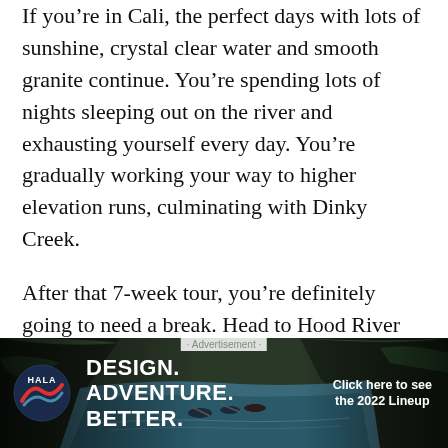If you're in Cali, the perfect days with lots of sunshine, crystal clear water and smooth granite continue. You're spending lots of nights sleeping out on the river and exhausting yourself every day. You're gradually working your way to higher elevation runs, culminating with Dinky Creek.
After that 7-week tour, you're definitely going to need a break. Head to Hood River for some much needed relaxation time and perfect quick class V runs. Run the Little White Salmon as long as possible, then do daily runs on the Green Truss. Make sure to stop by the Beaver Lodge and meet the Mayor. You can also shred the wind by kite or check out the area's epic mountain biking. Just be
[Figure (photo): Advertisement banner for HALA with logo, text 'DESIGN. ADVENTURE. BETTER.' and a background photo of people kayaking on a river through a gorge. Call-to-action reads 'Click here to see the 2022 Lineup'.]